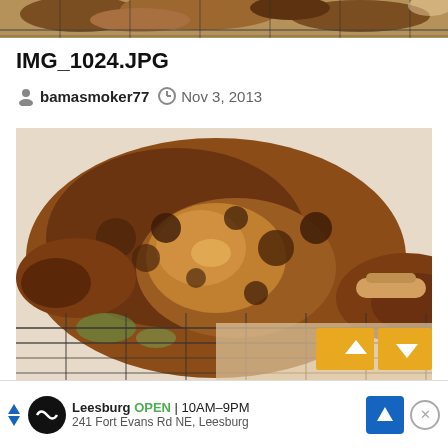[Figure (photo): Top cropped photo showing grilled/smoked chicken pieces on a wire rack, partial view]
IMG_1024.JPG
bamasmoker77  Nov 3, 2013
[Figure (photo): Close-up photo of seasoned/spiced smoked chicken pieces on a wire rack, showing crispy dark rub coating]
Leesburg  OPEN  10AM-9PM  241 Fort Evans Rd NE, Leesburg